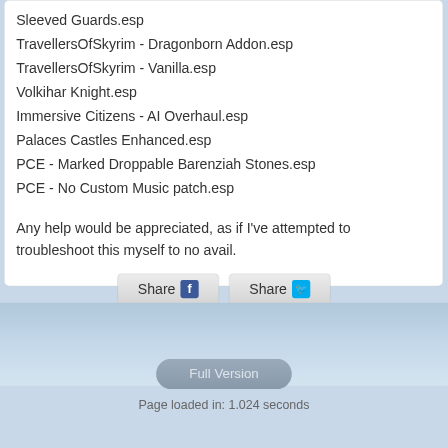Sleeved Guards.esp
TravellersOfSkyrim - Dragonborn Addon.esp
TravellersOfSkyrim - Vanilla.esp
Volkihar Knight.esp
Immersive Citizens - AI Overhaul.esp
Palaces Castles Enhanced.esp
PCE - Marked Droppable Barenziah Stones.esp
PCE - No Custom Music patch.esp
Any help would be appreciated, as if I've attempted to troubleshoot this myself to no avail.
[Figure (screenshot): Share on Facebook button with Facebook icon]
[Figure (screenshot): Share on Twitter button with Twitter icon]
Full Version
Page loaded in: 1.024 seconds